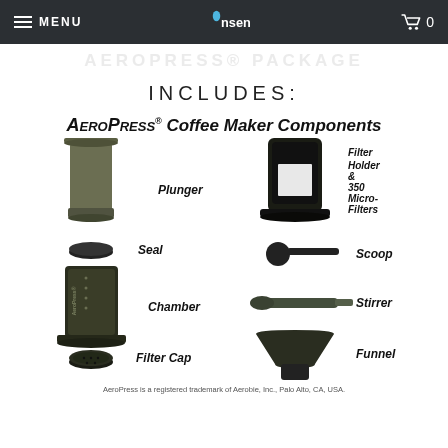MENU | Onsen logo | cart 0
AEROPRESS® PACKAGE
INCLUDES:
[Figure (illustration): AeroPress Coffee Maker Components diagram showing labeled parts: Plunger, Filter Holder & 350 Micro-Filters, Seal, Scoop, Chamber, Stirrer, Filter Cap, Funnel]
AeroPress is a registered trademark of Aerobie, Inc., Palo Alto, CA, USA.